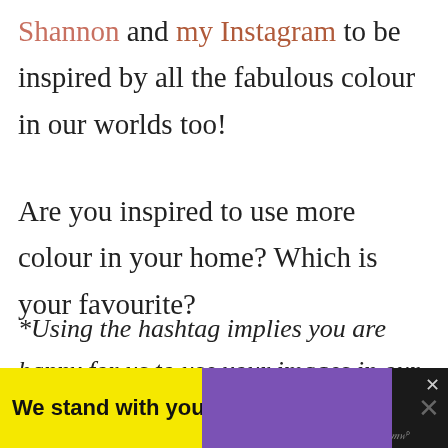Shannon and my Instagram to be inspired by all the fabulous colour in our worlds too!
Are you inspired to use more colour in your home? Which is your favourite?
*Using the hashtag implies you are happy for us to use your images in our posts – fully credited and linked of course to your
[Figure (other): Advertisement banner at bottom of page showing 'We stand with you.' text in bold black on yellow and purple background with close buttons and MediaWire branding]